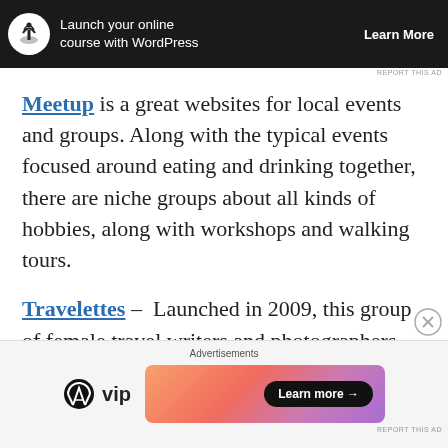[Figure (screenshot): Dark advertisement banner for WordPress online course, showing a bonsai tree icon, text 'Launch your online course with WordPress', and a 'Learn More' button on black background.]
Meetup is a great websites for local events and groups. Along with the typical events focused around eating and drinking together, there are niche groups about all kinds of hobbies, along with workshops and walking tours.
Travelettes – Launched in 2009, this group of female travel writers and photographers share their travel guides, stories and advice on their
[Figure (screenshot): Bottom advertisement bar showing 'Advertisements' label, WordPress VIP logo, and a gradient pink/orange promo box with a 'Learn more →' button.]